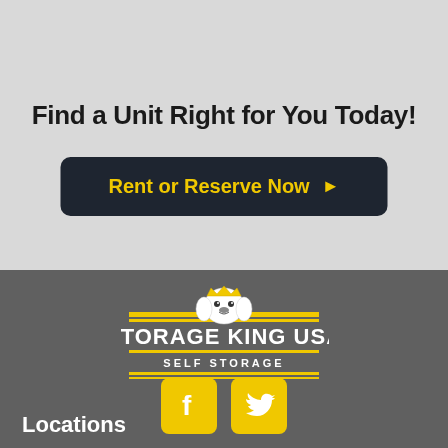Find a Unit Right for You Today!
Rent or Reserve Now ▶
[Figure (logo): Storage King USA Self Storage logo with dog mascot wearing a crown, yellow horizontal stripes, on dark grey background]
[Figure (illustration): Facebook icon (yellow square with white f letter)]
[Figure (illustration): Twitter icon (yellow square with white bird logo)]
Locations